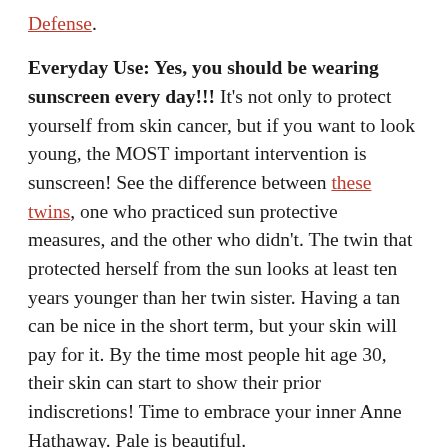Defense.
Everyday Use: Yes, you should be wearing sunscreen every day!!! It's not only to protect yourself from skin cancer, but if you want to look young, the MOST important intervention is sunscreen! See the difference between these twins, one who practiced sun protective measures, and the other who didn't. The twin that protected herself from the sun looks at least ten years younger than her twin sister. Having a tan can be nice in the short term, but your skin will pay for it. By the time most people hit age 30, their skin can start to show their prior indiscretions! Time to embrace your inner Anne Hathaway. Pale is beautiful.
The sunscreens I like for everyday use are those that feel like a moisturizer, are very light and sheen, and